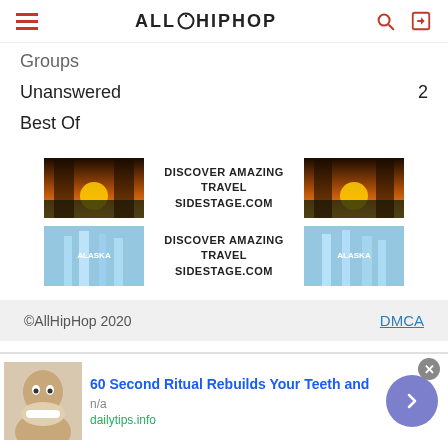AllHipHop
Groups
Unanswered   2
Best Of
[Figure (illustration): Two travel advertisement banners for SIDESTAGE.COM showing 'DISCOVER AMAZING TRAVEL SIDESTAGE.COM' with sunset and Alaska glacier images]
©AllHipHop 2020   DMCA
[Figure (photo): Bottom advertisement: '60 Second Ritual Rebuilds Your Teeth and' from dailytips.info, showing a man's face with white teeth, with a blue arrow button and close button]